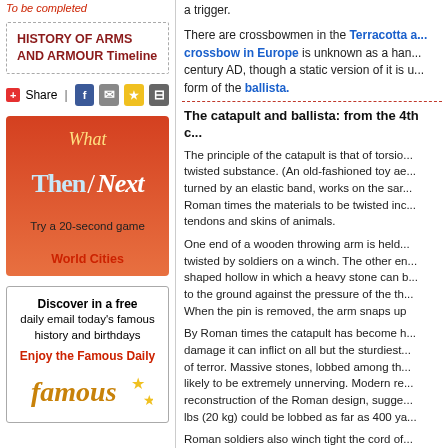To be completed
HISTORY OF ARMS AND ARMOUR Timeline
[Figure (infographic): Share bar with plus icon, Facebook, email, star, and print icons]
[Figure (illustration): Red-orange gradient box with 'What Then/Next' game ad, Try a 20-second game, World Cities]
Discover in a free daily email today's famous history and birthdays
Enjoy the Famous Daily
a trigger.
There are crossbowmen in the Terracotta a... crossbow in Europe is unknown as a han... century AD, though a static version of it is u... form of the ballista.
The catapult and ballista: from the 4th c...
The principle of the catapult is that of torsio... twisted substance. (An old-fashioned toy ae... turned by an elastic band, works on the sar... Roman times the materials to be twisted inc... tendons and skins of animals.
One end of a wooden throwing arm is held... twisted by soldiers on a winch. The other en... shaped hollow in which a heavy stone can b... to the ground against the pressure of the th... When the pin is removed, the arm snaps up
By Roman times the catapult has become h... damage it can inflict on all but the sturdiest... of terror. Massive stones, lobbed among th... likely to be extremely unnerving. Modern re... reconstruction of the Roman design, sugge... lbs (20 kg) could be lobbed as far as 400 ya...
Roman soldiers also winch tight the cord of... mounted on a heavy base. Known as a ball... stationary version of a crossbow. It fires a... flaming to start a fire in the besieged town